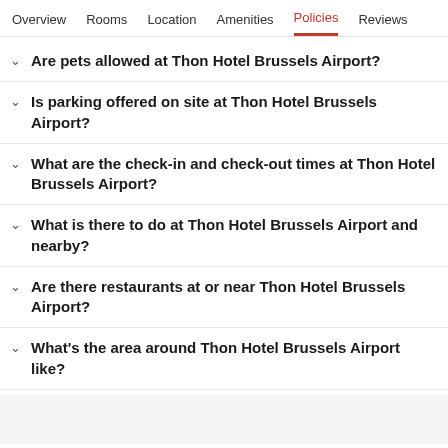Overview  Rooms  Location  Amenities  Policies  Reviews
Are pets allowed at Thon Hotel Brussels Airport?
Is parking offered on site at Thon Hotel Brussels Airport?
What are the check-in and check-out times at Thon Hotel Brussels Airport?
What is there to do at Thon Hotel Brussels Airport and nearby?
Are there restaurants at or near Thon Hotel Brussels Airport?
What's the area around Thon Hotel Brussels Airport like?
7.0 Good 372 reviews